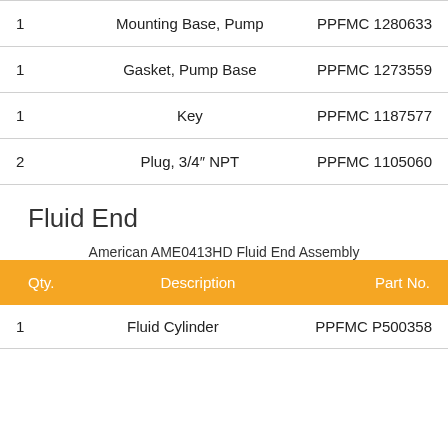| Qty. | Description | Part No. |
| --- | --- | --- |
| 1 | Mounting Base, Pump | PPFMC 1280633 |
| 1 | Gasket, Pump Base | PPFMC 1273559 |
| 1 | Key | PPFMC 1187577 |
| 2 | Plug, 3/4″ NPT | PPFMC 1105060 |
Fluid End
American AME0413HD Fluid End Assembly
| Qty. | Description | Part No. |
| --- | --- | --- |
| 1 | Fluid Cylinder | PPFMC P500358 |